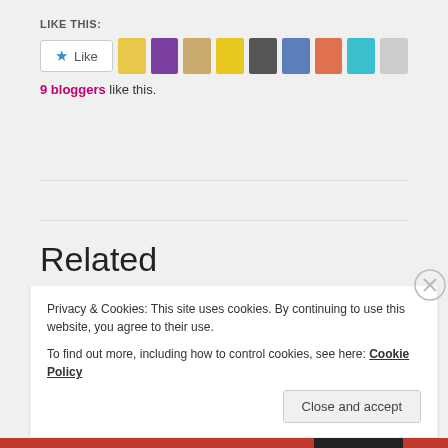LIKE THIS:
[Figure (other): Like button with star icon followed by 9 blogger avatar thumbnails]
9 bloggers like this.
Related
Sew Much to Tell You
June 15, 2018
IN "GRATITUDE"
Privacy & Cookies: This site uses cookies. By continuing to use this website, you agree to their use.
To find out more, including how to control cookies, see here: Cookie Policy
Close and accept